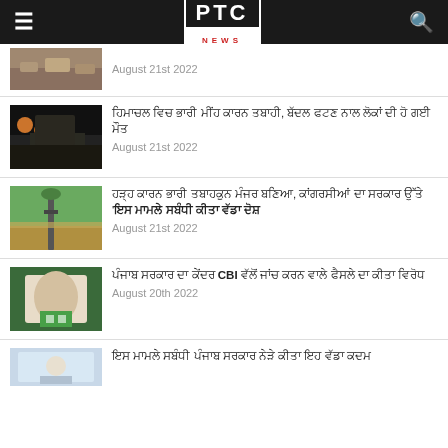PTC NEWS
[Figure (photo): Partial news thumbnail - rocky debris]
August 21st 2022
[Figure (photo): Night scene with people in orange robes near a building]
ਹਿਮਾਚਲ ਵਿਚ ਭਾਰੀ ਮੀਂਹ ਕਾਰਨ ਤਬਾਹੀ, ਬੱਦਲ ਫਟਣ ਨਾਲ ਲੋਕਾਂ ਦੀ ਹੋ ਗਈ ਮੌਤ
August 21st 2022
[Figure (photo): Flooded landscape with a tilted pole]
ਹੜ੍ਹ ਕਾਰਨ ਭਾਰੀ ਤਬਾਹਕੁਨ ਮੰਜਰ ਬਣਿਆ, ਕਾਂਗਰਸੀਆਂ ਦਾ ਸਰਕਾਰ ਉੱਤੇ 'ਇਸ ਮਾਮਲੇ ਸਬੰਧੀ ਕੀਤਾ ਵੱਡਾ ਦੋਸ਼
August 21st 2022
[Figure (photo): Man wearing BJP/party sash sitting indoors]
ਪੰਜਾਬ ਸਰਕਾਰ ਦਾ ਕੇਂਦਰ CBI ਵੱਲੋਂ ਜਾਂਚ ਕਰਨ ਵਾਲੇ ਫੈਸਲੇ ਦਾ ਕੀਤਾ ਵਿਰੋਧ
August 20th 2022
[Figure (photo): Partial thumbnail - building with emblem]
ਇਸ ਮਾਮਲੇ ਸਬੰਧੀ ਪੰਜਾਬ ਸਰਕਾਰ ਨੇੜੇ ਕੀਤਾ ਇਹ ਵੱਡਾ ਕਦਮ